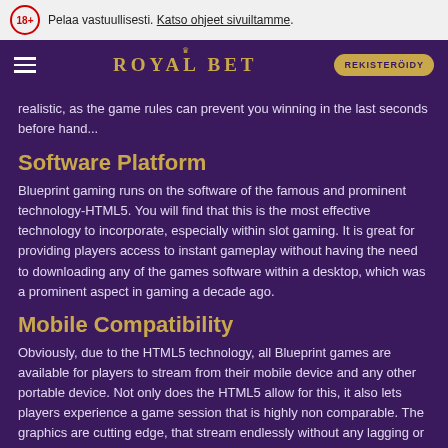Pelaa vastuullisesti. Katso ohjeet sivuiltamme.
ROYAL BET — REKISTERÖIDY
realistic, as the game rules can prevent you winning in the last seconds before hand...
Software Platform
Blueprint gaming runs on the software of the famous and prominent technology-HTML5. You will find that this is the most effective technology to incorporate, especially within slot gaming. It is great for providing players access to instant gameplay without having the need to downloading any of the games software within a desktop, which was a prominent aspect in gaming a decade ago.
Mobile Compatibility
Obviously, due to the HTML5 technology, all Blueprint games are available for players to stream from their mobile device and any other portable device. Not only does the HTML5 allow for this, it also lets players experience a game session that is highly non comparable. The graphics are cutting edge, that stream endlessly without any lagging or